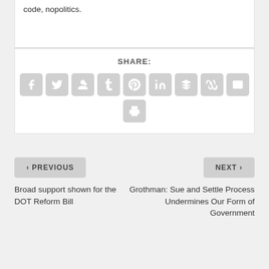code, nopolitics.
SHARE:
[Figure (infographic): Social share icons: Facebook, Twitter, Google+, Tumblr, Pinterest, LinkedIn, Buffer, StumbleUpon, Email, Print]
< PREVIOUS
NEXT >
Broad support shown for the DOT Reform Bill
Grothman: Sue and Settle Process Undermines Our Form of Government